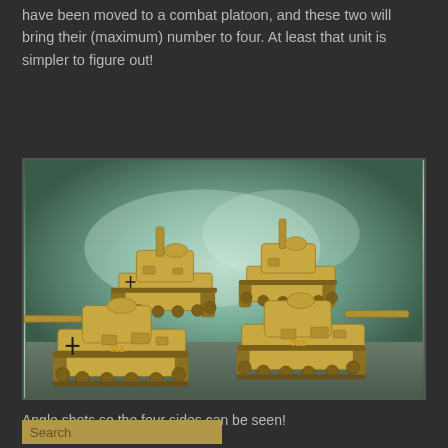have been moved to a combat platoon, and these two will bring their (maximum) number to four. At least that unit is simpler to figure out!
[Figure (photo): Four yellow/tan painted WWII German Panzer IV tank miniatures arranged in a diamond formation, photographed from an angle against a green-grey atmospheric background. Two tanks in front row face toward viewer, two in back row face away.]
Angle shots so the four sides can be seen!